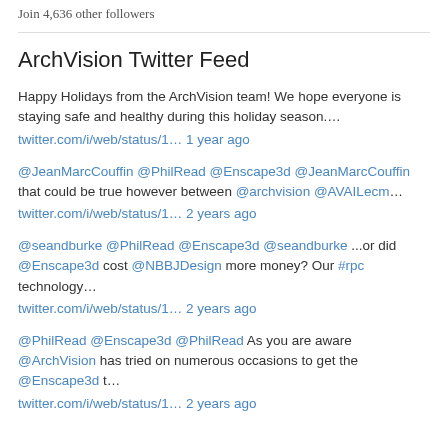Join 4,636 other followers
ArchVision Twitter Feed
Happy Holidays from the ArchVision team! We hope everyone is staying safe and healthy during this holiday season….
twitter.com/i/web/status/1… 1 year ago
@JeanMarcCouffin @PhilRead @Enscape3d @JeanMarcCouffin that could be true however between @archvision @AVAILecm…
twitter.com/i/web/status/1… 2 years ago
@seandburke @PhilRead @Enscape3d @seandburke ...or did @Enscape3d cost @NBBJDesign more money? Our #rpc technology…
twitter.com/i/web/status/1… 2 years ago
@PhilRead @Enscape3d @PhilRead As you are aware @ArchVision has tried on numerous occasions to get the @Enscape3d t…
twitter.com/i/web/status/1… 2 years ago